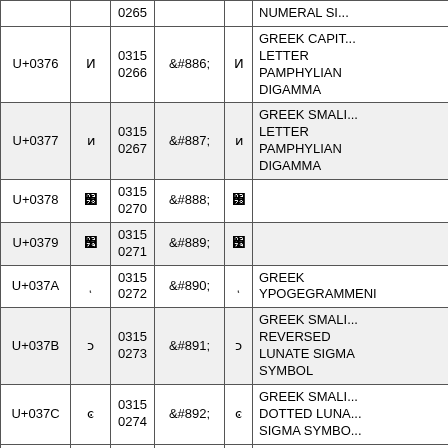| Code | Char | Octal | HTML | Rend | Name |
| --- | --- | --- | --- | --- | --- |
|  |  | 0265 |  |  | NUMERAL SI... |
| U+0376 | Ͷ | 0315
0266 | &#886; | Ͷ | GREEK CAPITAL LETTER PAMPHYLIAN DIGAMMA |
| U+0377 | ͷ | 0315
0267 | &#887; | ͷ | GREEK SMALL LETTER PAMPHYLIAN DIGAMMA |
| U+0378 | ͸ | 0315
0270 | &#888; | ͸ |  |
| U+0379 | ͹ | 0315
0271 | &#889; | ͹ |  |
| U+037A | ͺ | 0315
0272 | &#890; | ͺ | GREEK YPOGEGRAMMENI |
| U+037B | ͻ | 0315
0273 | &#891; | ͻ | GREEK SMALL REVERSED LUNATE SIGMA SYMBOL |
| U+037C | ͼ | 0315
0274 | &#892; | ͼ | GREEK SMALL DOTTED LUNATE SIGMA SYMBOL |
| U+037D | ͽ | 0315 | &#893; | ͽ | GREEK SMALL REVERSED... |